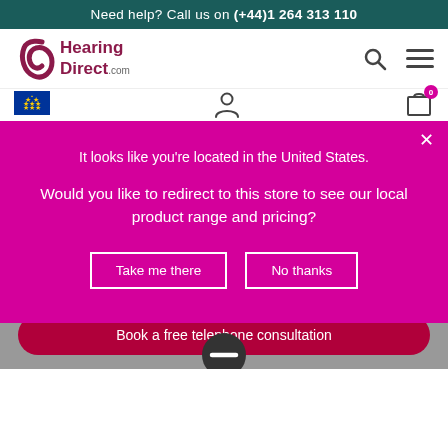Need help? Call us on (+44)1 264 313 110
[Figure (logo): Hearing Direct .com logo with stylized 'b' icon in dark red/maroon]
It looks like you're located in the United States.
Would you like to redirect to this store to see our local product range and pricing?
Take me there
No thanks
Book a free telephone consultation